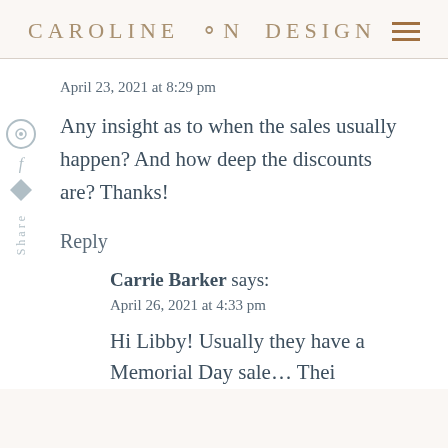CAROLINE ON DESIGN
April 23, 2021 at 8:29 pm
Any insight as to when the sales usually happen? And how deep the discounts are? Thanks!
Reply
Carrie Barker says:
April 26, 2021 at 4:33 pm
Hi Libby! Usually they have a Memorial Day sale…Thei